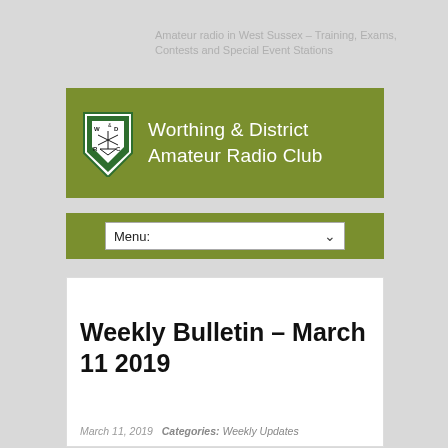Amateur radio in West Sussex – Training, Exams, Contests and Special Event Stations
[Figure (logo): Worthing & District Amateur Radio Club banner with green background, shield logo on left, and club name text on right in white]
Menu:
Weekly Bulletin – March 11 2019
March 11, 2019   Categories: Weekly Updates